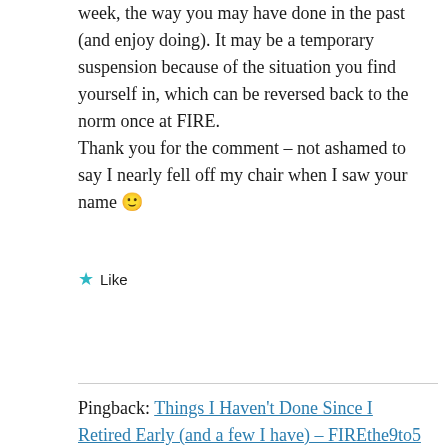week, the way you may have done in the past (and enjoy doing). It may be a temporary suspension because of the situation you find yourself in, which can be reversed back to the norm once at FIRE.
Thank you for the comment – not ashamed to say I nearly fell off my chair when I saw your name 🙂
★ Like
Reply
Pingback: Things I Haven't Done Since I Retired Early (and a few I have) – FIREthe9to5